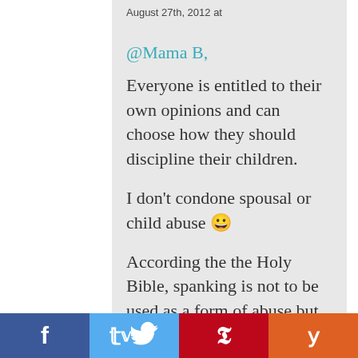August 27th, 2012 at
@Mama B,

Everyone is entitled to their own opinions and can choose how they should discipline their children.

I don't condone spousal or child abuse 😀

According the the Holy Bible, spanking is not to be used as a form of abuse but as a form of correction. The Bible goes as far to say that spankings can indeed change the rebellious heart of a child.
f  🐦  P  y